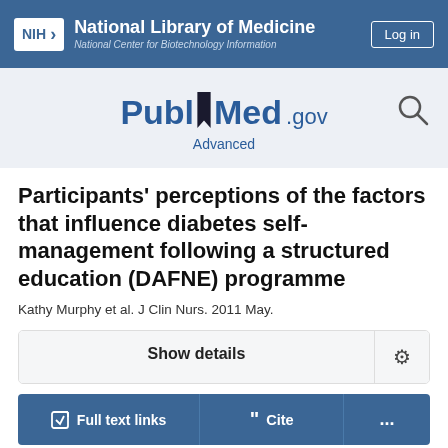[Figure (logo): NIH National Library of Medicine / National Center for Biotechnology Information header bar with Log in button]
[Figure (logo): PubMed.gov logo with search icon and Advanced link]
Participants' perceptions of the factors that influence diabetes self-management following a structured education (DAFNE) programme
Kathy Murphy et al. J Clin Nurs. 2011 May.
Show details
Full text links  Cite  ...